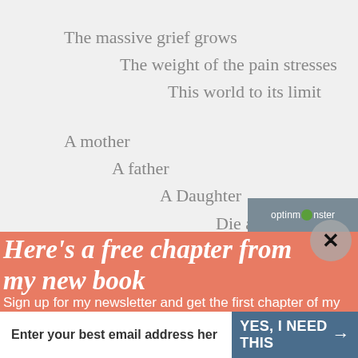The massive grief grows
    The weight of the pain stresses
        This world to its limit

A mother
    A father
        A Daughter
            Die alone
[Figure (screenshot): OptinMonster popup overlay with salmon/coral background showing 'Here's a free chapter from my new book' headline, newsletter signup text, email input field, and YES I NEED THIS button. OptinMonster branding bar visible in upper right. Close button (X) in circle overlapping top right of popup.]
Here's a free chapter from my new book
Sign up for my newsletter and get the first chapter of my new book for free.
Enter your best email address her
YES, I NEED THIS →